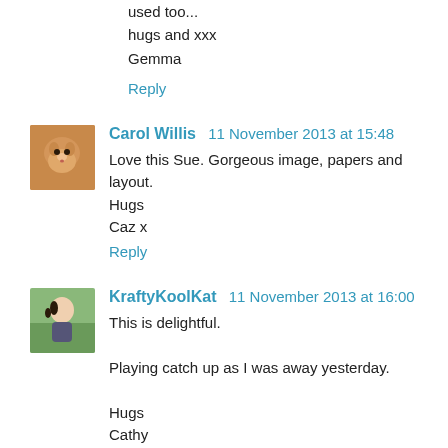used too...
hugs and xxx
Gemma
Reply
Carol Willis  11 November 2013 at 15:48
Love this Sue. Gorgeous image, papers and layout.
Hugs
Caz x
Reply
KraftyKoolKat  11 November 2013 at 16:00
This is delightful.

Playing catch up as I was away yesterday.

Hugs
Cathy
xxxx